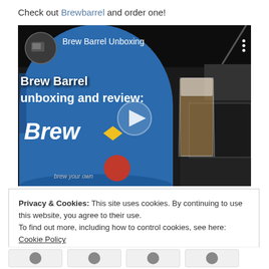Check out Brewbarrel and order one!
[Figure (screenshot): Video thumbnail showing 'Brew Barrel Unboxing' YouTube video. A blue barrel with 'Brew' branding and 'brew your own' text, next to a glass of beer. Overlay text reads 'Brew Barrel unboxing and review:' with a play button in the center.]
Privacy & Cookies: This site uses cookies. By continuing to use this website, you agree to their use.
To find out more, including how to control cookies, see here: Cookie Policy
Close and accept